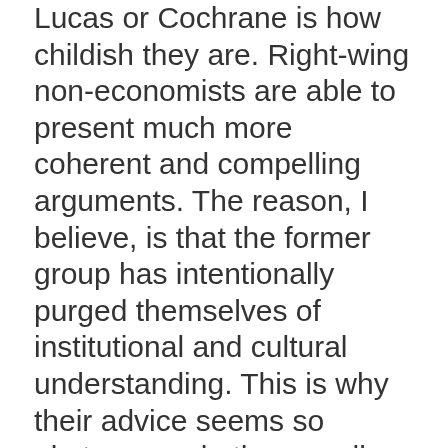Lucas or Cochrane is how childish they are. Right-wing non-economists are able to present much more coherent and compelling arguments. The reason, I believe, is that the former group has intentionally purged themselves of institutional and cultural understanding. This is why their advice seems so abstruse and other-wordly; so far removed from everyday experience, or how firms, workers, and consumers, and savers actually behave.
This can't possible be good when you are trying to "draw a man" of the landscape in